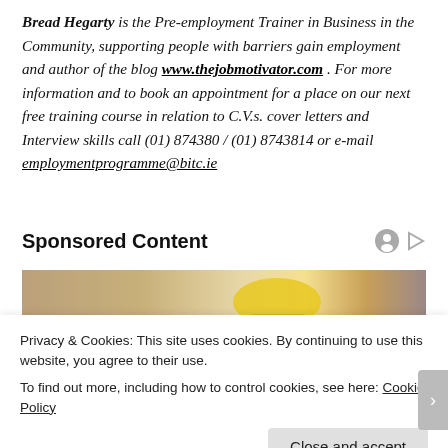Bread Hegarty is the Pre-employment Trainer in Business in the Community, supporting people with barriers gain employment and author of the blog www.thejobmotivator.com . For more information and to book an appointment for a place on our next free training course in relation to C.V.s. cover letters and Interview skills call (01) 874380 / (01) 8743814 or e-mail employmentprogramme@bitc.ie
Sponsored Content
[Figure (photo): Partial photo of a construction scene with a yellow hard hat visible against a blurred background.]
Privacy & Cookies: This site uses cookies. By continuing to use this website, you agree to their use.
To find out more, including how to control cookies, see here: Cookie Policy
Close and accept